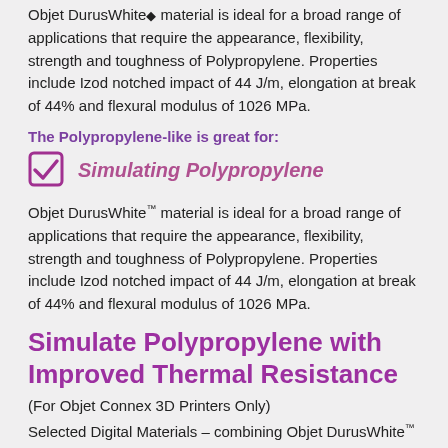Objet DurusWhite♦ material is ideal for a broad range of applications that require the appearance, flexibility, strength and toughness of Polypropylene. Properties include Izod notched impact of 44 J/m, elongation at break of 44% and flexural modulus of 1026 MPa.
The Polypropylene-like is great for:
Simulating Polypropylene
Objet DurusWhite™ material is ideal for a broad range of applications that require the appearance, flexibility, strength and toughness of Polypropylene. Properties include Izod notched impact of 44 J/m, elongation at break of 44% and flexural modulus of 1026 MPa.
Simulate Polypropylene with Improved Thermal Resistance
(For Objet Connex 3D Printers Only)
Selected Digital Materials – combining Objet DurusWhite™ with: